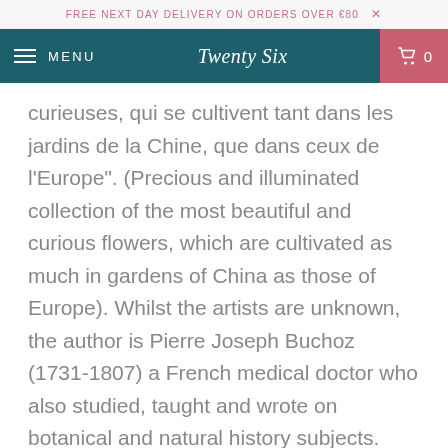FREE NEXT DAY DELIVERY ON ORDERS OVER €80  ✕
MENU  Twenty Six  0
curieuses, qui se cultivent tant dans les jardins de la Chine, que dans ceux de l'Europe". (Precious and illuminated collection of the most beautiful and curious flowers, which are cultivated as much in gardens of China as those of Europe). Whilst the artists are unknown, the author is Pierre Joseph Buchoz (1731-1807) a French medical doctor who also studied, taught and wrote on botanical and natural history subjects. Click here for more